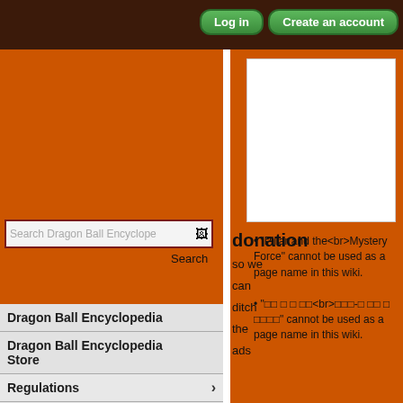Log in | Create an account
[Figure (screenshot): Search input box with placeholder 'Search Dragon Ball Encyclopedia']
Search
Dragon Ball Encyclopedia
Dragon Ball Encyclopedia Store
Regulations
Local policies
Guides
Help
Community portal
Literature
Media
donation so we can ditch the ads
• "Pillar and the<br>Mystery Force" cannot be used as a page name in this wiki.
• "□□ □ □ □□<br>□□□-□ □□ □ □□□□" cannot be used as a page name in this wiki.